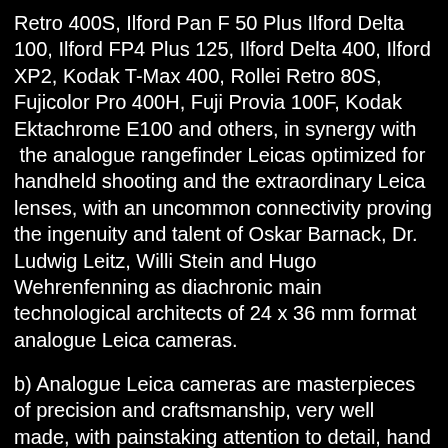Retro 400S, Ilford Pan F 50 Plus Ilford Delta 100, Ilford FP4 Plus 125, Ilford Delta 400, Ilford XP2, Kodak T-Max 400, Rollei Retro 80S, Fujicolor Pro 400H, Fuji Provia 100F, Kodak Ektachrome E100 and others, in synergy with  the analogue rangefinder Leicas optimized for handheld shooting and the extraordinary Leica lenses, with an uncommon connectivity proving the ingenuity and talent of Oskar Barnack, Dr. Ludwig Leitz, Willi Stein and Hugo Wehrenfenning as diachronic main technological architects of 24 x 36 mm format analogue Leica cameras.
b) Analogue Leica cameras are masterpieces of precision and craftsmanship, very well made, with painstaking attention to detail, hand made, manufactured with the best noble metals (specially brass and aluminium) and often sublimely chromed.
c) They are utterly mechanic, very reliable and can be repaired if needed.